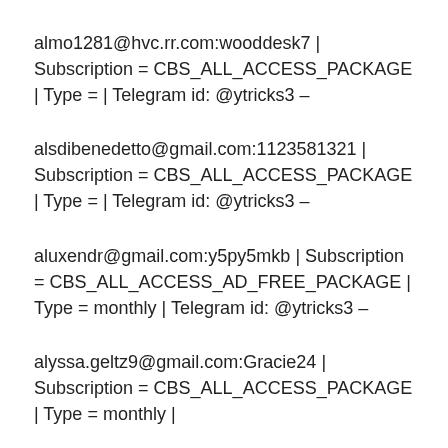almo1281@hvc.rr.com:wooddesk7 | Subscription = CBS_ALL_ACCESS_PACKAGE | Type = | Telegram id: @ytricks3 –
alsdibenedetto@gmail.com:1123581321 | Subscription = CBS_ALL_ACCESS_PACKAGE | Type = | Telegram id: @ytricks3 –
aluxendr@gmail.com:y5py5mkb | Subscription = CBS_ALL_ACCESS_AD_FREE_PACKAGE | Type = monthly | Telegram id: @ytricks3 –
alyssa.geltz9@gmail.com:Gracie24 | Subscription = CBS_ALL_ACCESS_PACKAGE | Type = monthly |